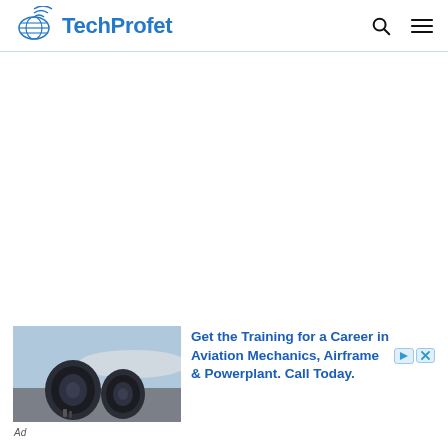TechProfet
[Figure (screenshot): TechProfet website header with logo, navigation icons for search and menu]
[Figure (photo): Airplane jet engines on tarmac with workers nearby, used as ad image for aviation mechanics training]
Get the Training for a Career in Aviation Mechanics, Airframe & Powerplant. Call Today.
Ad